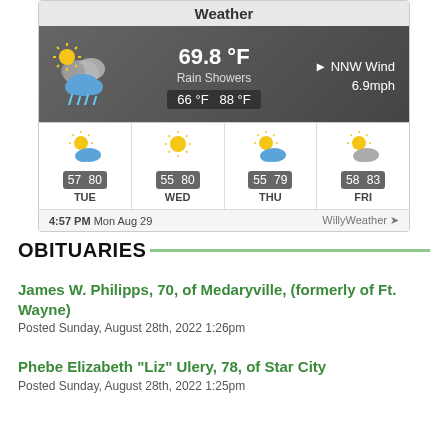[Figure (screenshot): Weather widget showing 69.8°F Rain Showers, NNW Wind 6.9mph, high 88°F low 66°F, with 4-day forecast: TUE 57/80, WED 55/80, THU 55/79, FRI 58/83. Timestamp: 4:57 PM Mon Aug 29. WillyWeather branding.]
OBITUARIES
James W. Philipps, 70, of Medaryville, (formerly of Ft. Wayne)
Posted Sunday, August 28th, 2022 1:26pm
Phebe Elizabeth "Liz" Ulery, 78, of Star City
Posted Sunday, August 28th, 2022 1:25pm